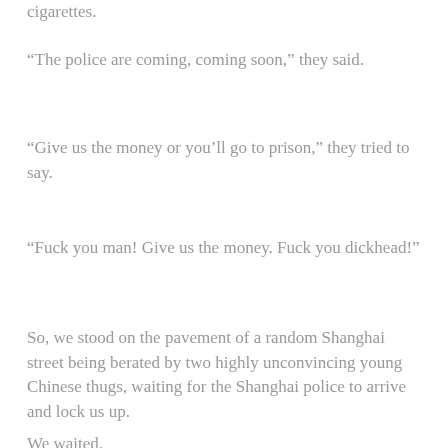cigarettes.
“The police are coming, coming soon,” they said.
“Give us the money or you’ll go to prison,” they tried to say.
“Fuck you man! Give us the money. Fuck you dickhead!”
So, we stood on the pavement of a random Shanghai street being berated by two highly unconvincing young Chinese thugs, waiting for the Shanghai police to arrive and lock us up.
We waited.